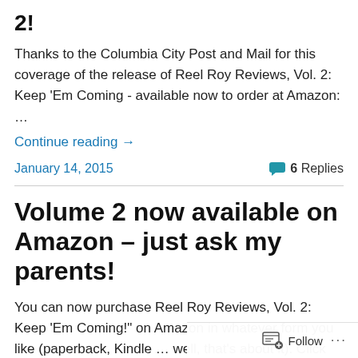2!
Thanks to the Columbia City Post and Mail for this coverage of the release of Reel Roy Reviews, Vol. 2: Keep 'Em Coming - available now to order at Amazon: …
Continue reading →
January 14, 2015
6 Replies
Volume 2 now available on Amazon – just ask my parents!
You can now purchase Reel Roy Reviews, Vol. 2: Keep 'Em Coming!" on Amazon in whatever form you like (paperback, Kindle … well, that's about it). Click here